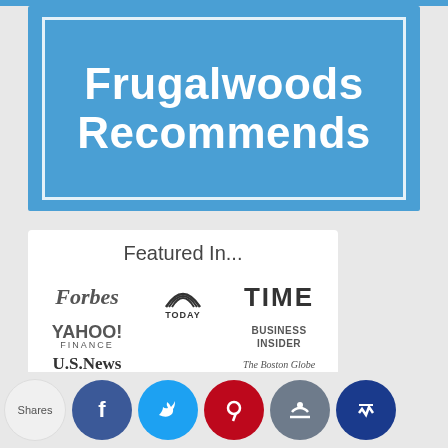[Figure (logo): Frugalwoods Recommends banner — bold white text on blue background with white border inset]
[Figure (infographic): Featured In... panel showing logos: Forbes, TODAY (NBC), TIME, YAHOO! FINANCE, Business Insider, U.S. News, The Boston Globe]
[Figure (infographic): Social sharing bar with Shares label and circular buttons: Facebook (blue), Twitter (cyan), Pinterest (red), thumbs-up (grey-blue), crown (dark blue)]